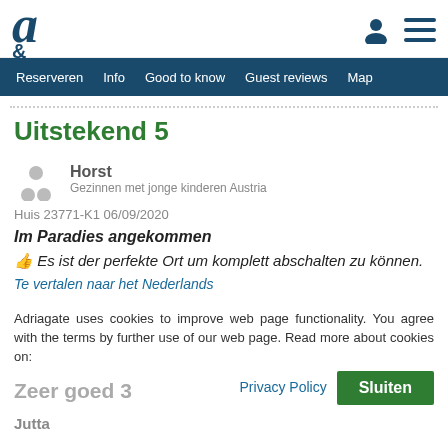a [logo] | [person icon] [menu icon]
Reserveren  Info  Good to know  Guest reviews  Map
Uitstekend 5
Horst
Gezinnen met jonge kinderen Austria
Huis 23771-K1 06/09/2020
Im Paradies angekommen
👍 Es ist der perfekte Ort um komplett abschalten zu können.
Te vertalen naar het Nederlands
Adriagate uses cookies to improve web page functionality. You agree with the terms by further use of our web page. Read more about cookies on:
Zeer goed 3
Privacy Policy  Sluiten
Jutta